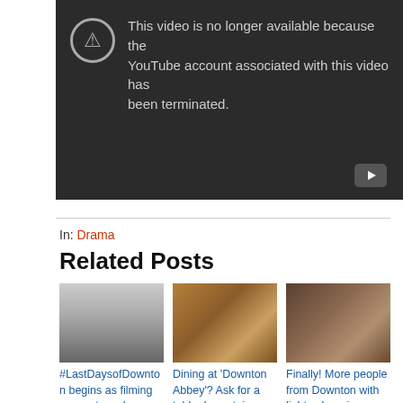[Figure (screenshot): YouTube video unavailable error screen with dark background. Text reads: 'This video is no longer available because the YouTube account associated with this video has been terminated.' A YouTube play button icon appears at the bottom right.]
In: Drama
Related Posts
[Figure (photo): Black and white photo of a large manor house (Highclere Castle / Downton Abbey) with crowds of people outside.]
#LastDaysofDownton begins as filming comes to a close
[Figure (photo): Color photo of people in period costume in a kitchen or dining setting, appearing to be from the TV show Downton Abbey.]
Dining at 'Downton Abbey'? Ask for a table downstairs
[Figure (photo): Color photo of two people from Downton Abbey holding light sabers in what appears to be a library setting.]
Finally! More people from Downton with light sabers in 'Downton Wars'